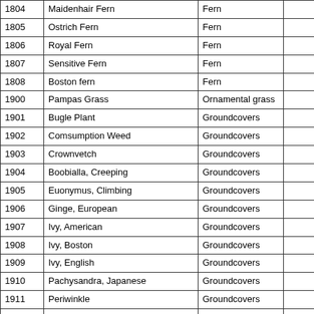| Code | Name | Type |  |
| --- | --- | --- | --- |
| 1804 | Maidenhair Fern | Fern |  |
| 1805 | Ostrich Fern | Fern |  |
| 1806 | Royal Fern | Fern |  |
| 1807 | Sensitive Fern | Fern |  |
| 1808 | Boston fern | Fern |  |
| 1900 | Pampas Grass | Ornamental grass |  |
| 1901 | Bugle Plant | Groundcovers |  |
| 1902 | Comsumption Weed | Groundcovers |  |
| 1903 | Crownvetch | Groundcovers |  |
| 1904 | Boobialla, Creeping | Groundcovers |  |
| 1905 | Euonymus, Climbing | Groundcovers |  |
| 1906 | Ginge, European | Groundcovers |  |
| 1907 | Ivy, American | Groundcovers |  |
| 1908 | Ivy, Boston | Groundcovers |  |
| 1909 | Ivy, English | Groundcovers |  |
| 1910 | Pachysandra, Japanese | Groundcovers |  |
| 1911 | Periwinkle | Groundcovers |  |
| 1912 | Sedum, All | Groundcovers |  |
| 1913 | St. Johns Wort, Creeping | Shrub |  |
| 1914 | Vinca/Largo Periwinkle | Groundcovers |  |